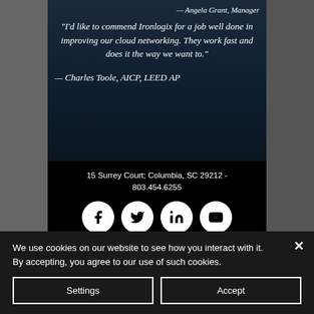— Angela Grant, Manager
"I'd like to commend Ironlogix for a job well done in improving our cloud networking. They work fast and does it the way we want to."
— Charles Toole, AICP, LEED AP
15 Surrey Court; Columbia, SC 29212  -  803.454.6255
[Figure (infographic): Social media icons: Facebook, Twitter, LinkedIn, YouTube in white circles on black background]
© 2021 by IronLogix, LLC.  All rights reserved. Coverage Area
We use cookies on our website to see how you interact with it. By accepting, you agree to our use of such cookies.
Settings
Accept